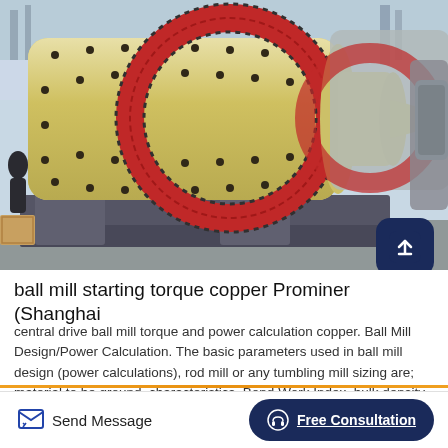[Figure (photo): Industrial ball mills with yellow cylindrical drums, red gear rings, mounted on dark steel frames, in a factory setting. Multiple mills visible in a row.]
ball mill starting torque copper Prominer (Shanghai
central drive ball mill torque and power calculation copper. Ball Mill Design/Power Calculation. The basic parameters used in ball mill design (power calculations), rod mill or any tumbling mill sizing are; material to be ground, characteristics, Bond Work Index, bulk density, specific density, desired mill tonnage capacity DTPH